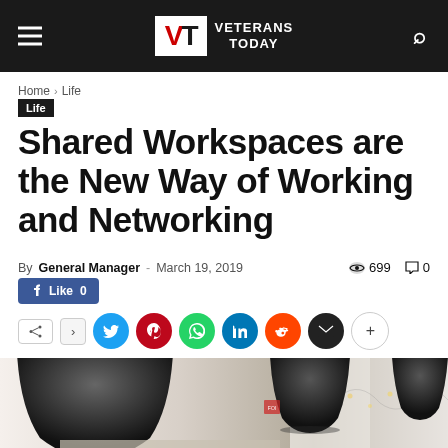VETERANS TODAY
Home › Life
Life
Shared Workspaces are the New Way of Working and Networking
By General Manager - March 19, 2019 · 699 views · 0 comments
[Figure (screenshot): Social sharing buttons row: Facebook Like 0, share icon, arrow, Twitter, Pinterest, WhatsApp, LinkedIn, Reddit, Email, More (+)]
[Figure (photo): Interior photo of a shared workspace/coworking space with industrial pendant lamps in foreground and string lights in background]